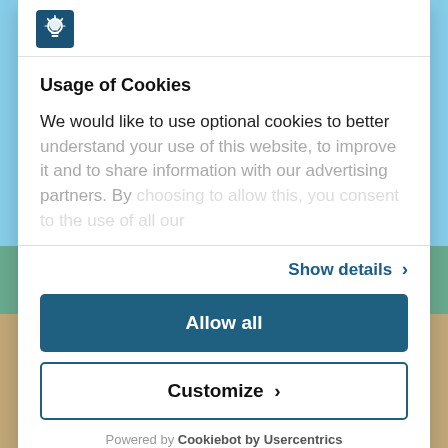[Figure (screenshot): Cookie consent modal dialog overlaying a beach background. The modal has a lightbulb icon in the top section, a 'Usage of Cookies' heading with descriptive text (partially faded), a 'Show details' link, an 'Allow all' button in dark teal, a 'Customize' button with border outline, and a 'Powered by Cookiebot by Usercentrics' footer.]
Usage of Cookies
We would like to use optional cookies to better understand your use of this website, to improve it and to share information with our advertising partners. By
Show details ›
Allow all
Customize ›
Powered by Cookiebot by Usercentrics